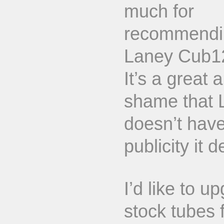much for recommending the Laney Cub12 stack. It's a great amp, and a shame that Laney doesn't have the publicity it deserves.
I'd like to upgrade the stock tubes from my Cub12 head. I was thinking about going for Tung-Sol EL84s for the power stage and JJ 12AX7s for the gain and phase